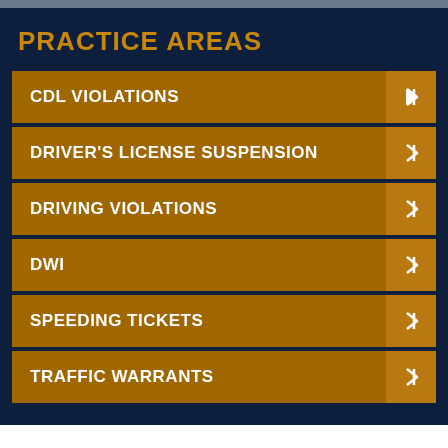PRACTICE AREAS
CDL VIOLATIONS
DRIVER'S LICENSE SUSPENSION
DRIVING VIOLATIONS
DWI
SPEEDING TICKETS
TRAFFIC WARRANTS
ROYSE CITY TRAFFIC WARRANT ROUNDUP LAWYER